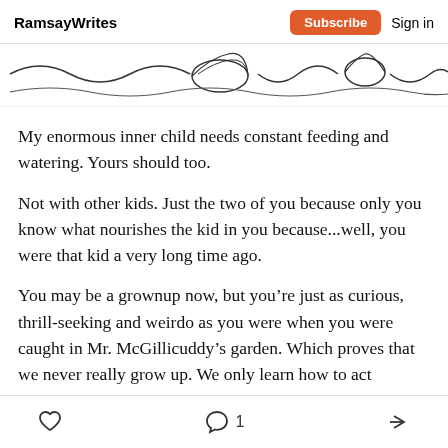RamsayWrites  Subscribe  Sign in
[Figure (illustration): Decorative wavy lines illustration showing abstract wave or water shapes]
My enormous inner child needs constant feeding and watering. Yours should too.
Not with other kids. Just the two of you because only you know what nourishes the kid in you because...well, you were that kid a very long time ago.
You may be a grownup now, but you’re just as curious, thrill-seeking and weirdo as you were when you were caught in Mr. McGillicuddy’s garden. Which proves that we never really grow up. We only learn how to act
Like  Comment 1  Share